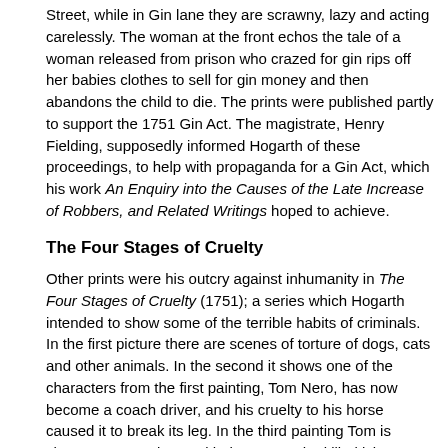Street, while in Gin lane they are scrawny, lazy and acting carelessly. The woman at the front echos the tale of a woman released from prison who crazed for gin rips off her babies clothes to sell for gin money and then abandons the child to die. The prints were published partly to support the 1751 Gin Act. The magistrate, Henry Fielding, supposedly informed Hogarth of these proceedings, to help with propaganda for a Gin Act, which his work An Enquiry into the Causes of the Late Increase of Robbers, and Related Writings hoped to achieve.
The Four Stages of Cruelty
Other prints were his outcry against inhumanity in The Four Stages of Cruelty (1751); a series which Hogarth intended to show some of the terrible habits of criminals. In the first picture there are scenes of torture of dogs, cats and other animals. In the second it shows one of the characters from the first painting, Tom Nero, has now become a coach driver, and his cruelty to his horse caused it to break its leg. In the third painting Tom is shown as a murderer, with the woman he killed lying on the ground, while in the fourth, titled Reward of Cruelty, the murderer is shown being dissected by scientists after his execution. Hogarth is thus using the series to say what will happen to people who carry on in this manner. This shows what crimes people were concerned with in this time, the method of execution, and the dissection reflects upon the 1752 Act of Parliament which had just being passed allowing for the dissection of